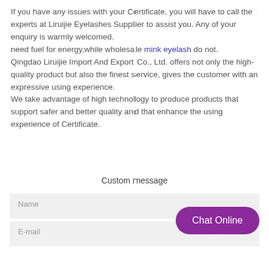If you have any issues with your Certificate, you will have to call the experts at Liruijie Eyelashes Supplier to assist you. Any of your enquiry is warmly welcomed.
need fuel for energy,while wholesale mink eyelash do not.
Qingdao Liruijie Import And Export Co., Ltd. offers not only the high-quality product but also the finest service, gives the customer with an expressive using experience.
We take advantage of high technology to produce products that support safer and better quality and that enhance the using experience of Certificate.
Custom message
Name
E-mail
Chat Online